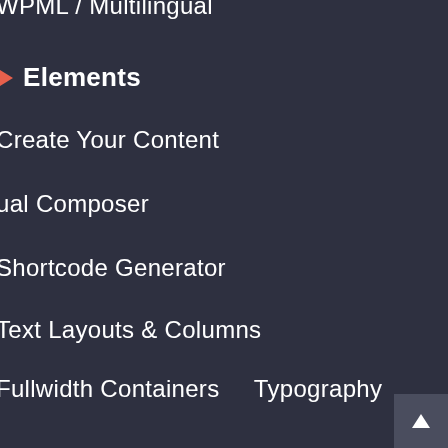WPML / Multilingual
▶ Elements
Create Your Content
ual Composer
Shortcode Generator
Text Layouts & Columns
Fullwidth Containers    Typography
Organize Your Content
Accordions & Toggles    Tabs
Lists & Tables